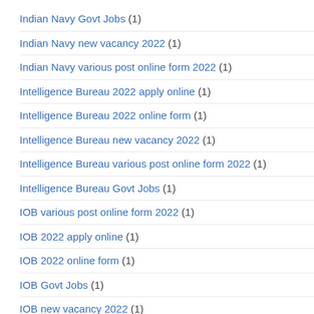Indian Navy Govt Jobs (1)
Indian Navy new vacancy 2022 (1)
Indian Navy various post online form 2022 (1)
Intelligence Bureau 2022 apply online (1)
Intelligence Bureau 2022 online form (1)
Intelligence Bureau new vacancy 2022 (1)
Intelligence Bureau various post online form 2022 (1)
Intelligence Bureau Govt Jobs (1)
IOB various post online form 2022 (1)
IOB 2022 apply online (1)
IOB 2022 online form (1)
IOB Govt Jobs (1)
IOB new vacancy 2022 (1)
IOCL 2022 apply online (2)
IOCL 2022 online form (2)
IOCL Govt Jobs (3)